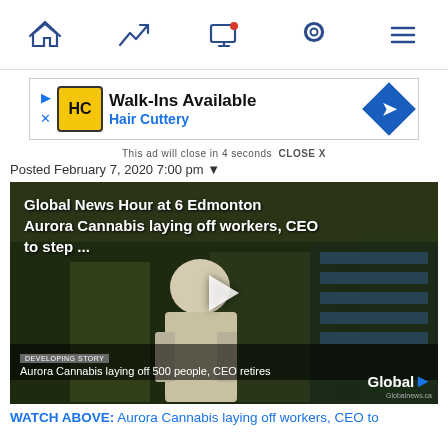[Navigation bar with home, trending, notifications, location, menu icons]
[Figure (screenshot): Advertisement banner for Hair Cuttery: Walk-Ins Available, Hair Cuttery logo in yellow, blue navigation arrow icon]
This ad will close in 4 seconds  CLOSE X
Posted February 7, 2020 7:00 pm
[Figure (screenshot): Video thumbnail showing Global News Hour at 6 Edmonton: Aurora Cannabis laying off workers, CEO to step ... - a person in white lab coat, play button overlay, lower bar caption: Aurora Cannabis laying off 500 people, CEO retires, Global branding with Globalnews.ca]
WATCH ABOVE: Aurora Cannabis laying off workers, CEO to